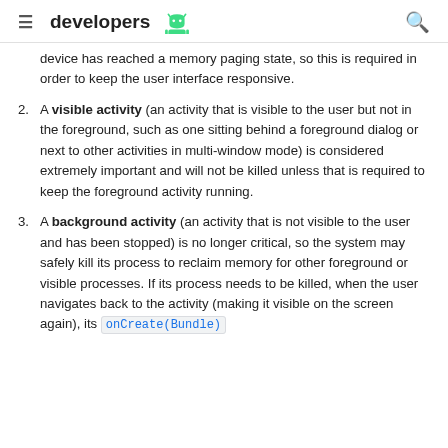≡ developers [android icon] 🔍
device has reached a memory paging state, so this is required in order to keep the user interface responsive.
2. A visible activity (an activity that is visible to the user but not in the foreground, such as one sitting behind a foreground dialog or next to other activities in multi-window mode) is considered extremely important and will not be killed unless that is required to keep the foreground activity running.
3. A background activity (an activity that is not visible to the user and has been stopped) is no longer critical, so the system may safely kill its process to reclaim memory for other foreground or visible processes. If its process needs to be killed, when the user navigates back to the activity (making it visible on the screen again), its onCreate(Bundle)